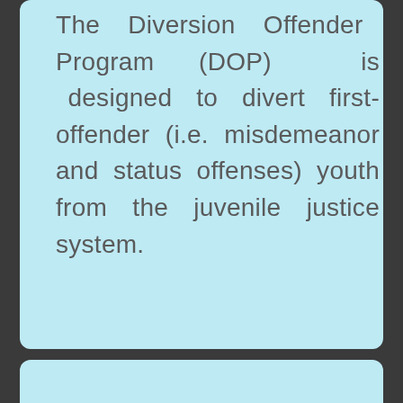The Diversion Offender Program (DOP) is designed to divert first-offender (i.e. misdemeanor and status offenses) youth from the juvenile justice system.